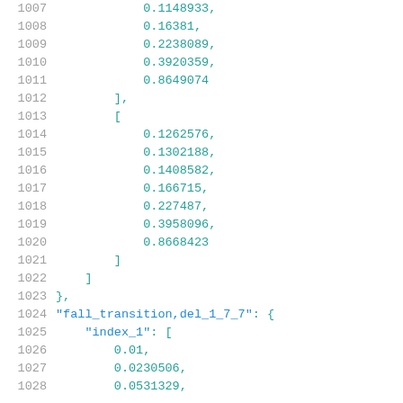Code listing lines 1007-1028 showing JSON numeric array data with keys fall_transition,del_1_7_7 and index_1
1007   0.1148933,
1008   0.16381,
1009   0.2238089,
1010   0.3920359,
1011   0.8649074
1012   ],
1013   [
1014   0.1262576,
1015   0.1302188,
1016   0.1408582,
1017   0.166715,
1018   0.227487,
1019   0.3958096,
1020   0.8668423
1021   ]
1022   ]
1023   },
1024   "fall_transition,del_1_7_7": {
1025   "index_1": [
1026   0.01,
1027   0.0230506,
1028   0.0531329,